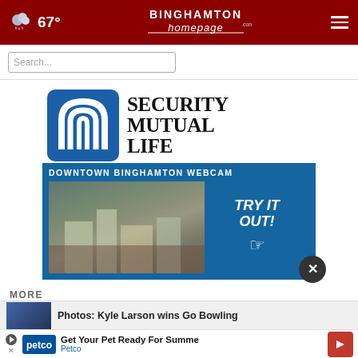67° | BinghamtonHomepage.com
[Figure (logo): BinghamtonHomepage.com logo in white text on dark red navigation bar]
[Figure (logo): Security Mutual Life insurance advertisement with blue arch logo and serif text]
[Figure (screenshot): Downtown Binghamton Webcam advertisement on blue background with aerial city photo and 'TRY IT OUT!' text]
MORE
[Figure (photo): Thumbnail image for Kyle Larson Go Bowling article]
Photos: Kyle Larson wins Go Bowling
[Figure (infographic): Petco bottom banner ad: Get Your Pet Ready For Summer - Petco]